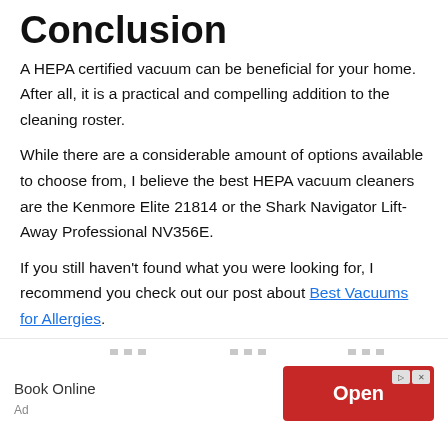Conclusion
A HEPA certified vacuum can be beneficial for your home. After all, it is a practical and compelling addition to the cleaning roster.
While there are a considerable amount of options available to choose from, I believe the best HEPA vacuum cleaners are the Kenmore Elite 21814 or the Shark Navigator Lift-Away Professional NV356E.
If you still haven't found what you were looking for, I recommend you check out our post about Best Vacuums for Allergies.
[Figure (other): Advertisement banner with 'Book Online' text and a red 'Open' button with ad controls]